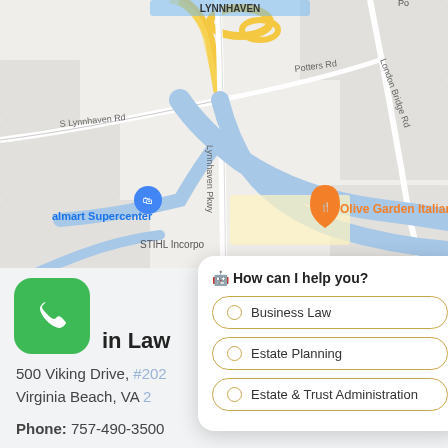[Figure (map): Google Maps screenshot showing Virginia Beach area with roads including S Lynnhaven Rd, Potters Rd, Lynnhaven Pkwy, London Bridge Rd, and points of interest including Walmart Supercenter, Olive Garden Italian, and STIHL Incorporated. Roads shown in white/yellow on light gray map background with blue waterways.]
[Figure (screenshot): Chat popup widget overlaying the map with heading 'How can I help you?' and three option buttons: Business Law, Estate Planning, Estate & Trust Administration, each with a circular radio button in gold/tan color.]
in Law
500 Viking Drive, #202
Virginia Beach, VA 2
Phone: 757-490-3500